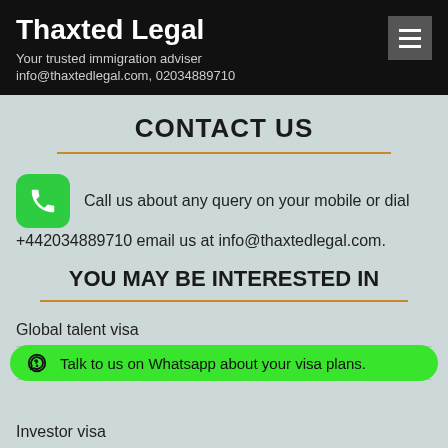Thaxted Legal
Your trusted immigration adviser
info@thaxtedlegal.com, 02034889710
CONTACT US
Call us about any query on your mobile or dial +442034889710 email us at info@thaxtedlegal.com.
YOU MAY BE INTERESTED IN
Global talent visa
St...
Talk to us on Whatsapp about your visa plans.
Investor visa